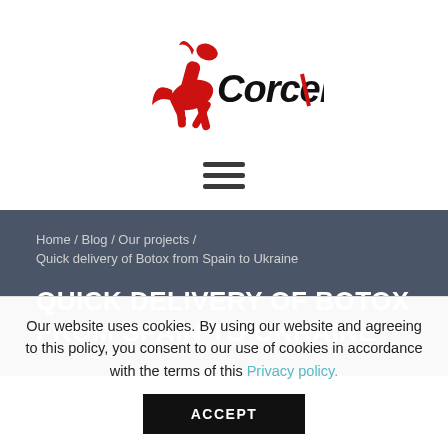[Figure (logo): Corcel company logo with red rearing horse silhouette and 'Corcel' text in bold black with a red diagonal stripe through the L]
[Figure (other): Hamburger menu icon — three horizontal dark lines]
Home / Blog / Our projects /
Quick delivery of Botox from Spain to Ukraine
QUICK DELIVERY OF BOTOX FROM SPAIN TO UKRAINE
Our website uses cookies. By using our website and agreeing to this policy, you consent to our use of cookies in accordance with the terms of this Privacy policy.
ACCEPT